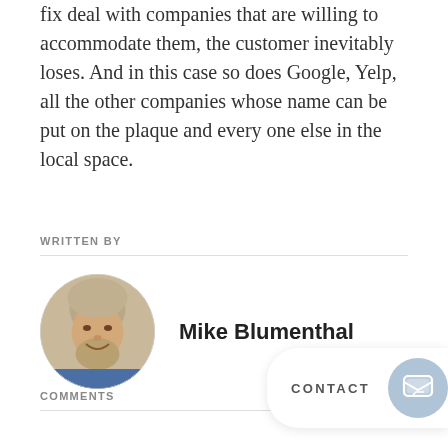fix deal with companies that are willing to accommodate them, the customer inevitably loses. And in this case so does Google, Yelp, all the other companies whose name can be put on the plaque and every one else in the local space.
WRITTEN BY
[Figure (photo): Circular profile photo of Mike Blumenthal, a middle-aged man with gray/light brown hair and beard, smiling.]
Mike Blumenthal
COMMENTS
CONTACT